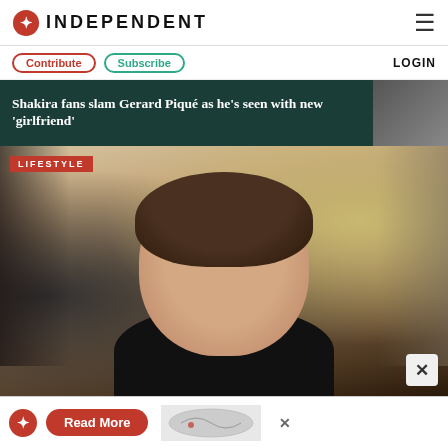INDEPENDENT
Contribute  Subscribe  LOGIN
Shakira fans slam Gerard Piqué as he's seen with new 'girlfriend'
[Figure (photo): Photo of a young man (Harry Styles) with styled brown hair wearing a black turtleneck at a formal event, with blurred crowd in background. LIFESTYLE badge overlay.]
Read More